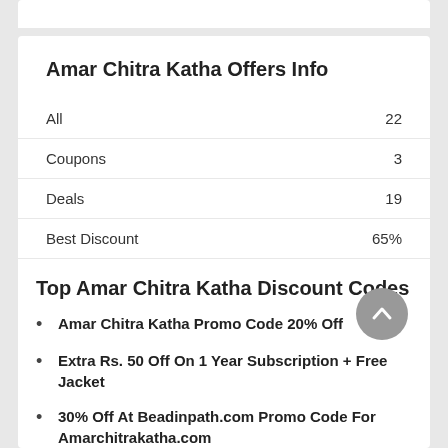Amar Chitra Katha Offers Info
|  |  |
| --- | --- |
| All | 22 |
| Coupons | 3 |
| Deals | 19 |
| Best Discount | 65% |
Top Amar Chitra Katha Discount Codes
Amar Chitra Katha Promo Code 20% Off
Extra Rs. 50 Off On 1 Year Subscription + Free Jacket
30% Off At Beadinpath.com Promo Code For Amarchitrakatha.com